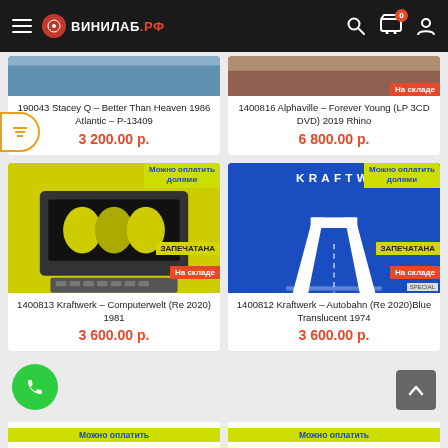ВИНИЛАБ.РФ
[Figure (screenshot): Partial album cover image for Stacey Q – Better Than Heaven]
190043 Stacey Q – Better Than Heaven 1986 Atlantic – P-13409
3 200.00 р.
[Figure (screenshot): Partial album cover for Alphaville – Forever Young with На складе badge]
1400816 Alphaville – Forever Young (LP 3CD DVD) 2019 Rhino
6 800.00 р.
[Figure (screenshot): Kraftwerk Computerwelt album cover on yellow background with ЗАПЕЧАТАНА, На складе, Можно оплатить долями badges]
1400813 Kraftwerk – Computerwelt (Re 2020) 1981
3 600.00 р.
[Figure (screenshot): Kraftwerk Autobahn album cover blue with white highway on blue background with ЗАПЕЧАТАНА, На складе, Можно оплатить долями badges]
1400812 Kraftwerk – Autobahn (Re 2020)Blue Translucent 1974
3 600.00 р.